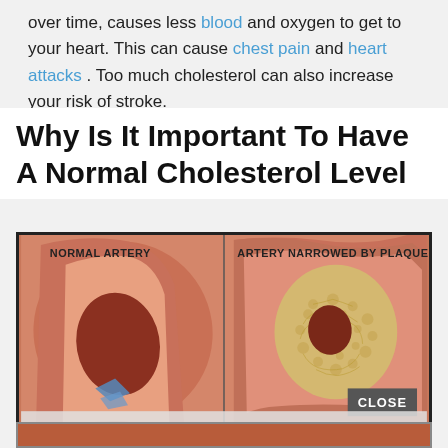over time, causes less blood and oxygen to get to your heart. This can cause chest pain and heart attacks. Too much cholesterol can also increase your risk of stroke.
Why Is It Important To Have A Normal Cholesterol Level
[Figure (illustration): Medical illustration showing two cross-sections of arteries side by side. Left: 'NORMAL ARTERY' showing an open, clear lumen. Right: 'ARTERY NARROWED BY PLAQUE' showing the lumen narrowed by yellow plaque buildup. A 'CLOSE' button appears at the bottom right of the image.]